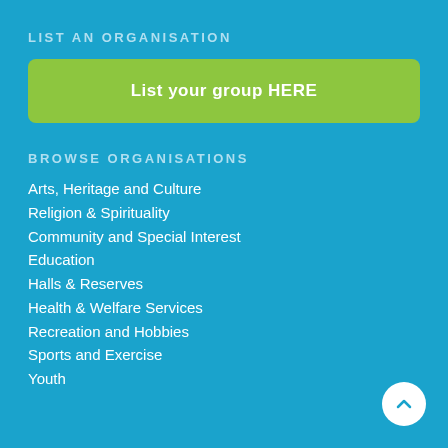LIST AN ORGANISATION
List your group HERE
BROWSE ORGANISATIONS
Arts, Heritage and Culture
Religion & Spirituality
Community and Special Interest
Education
Halls & Reserves
Health & Welfare Services
Recreation and Hobbies
Sports and Exercise
Youth